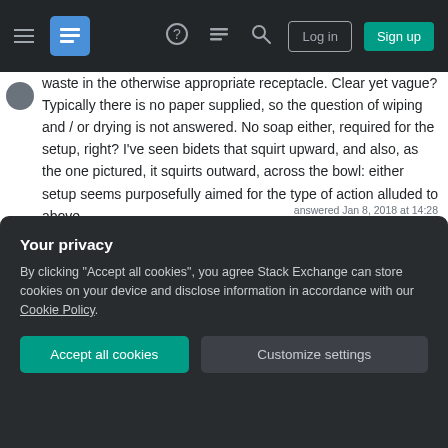Stack Exchange navigation bar with hamburger menu, logo, help, chat, search icons, Log in and Sign up buttons
waste in the otherwise appropriate receptacle. Clear yet vague? Typically there is no paper supplied, so the question of wiping and / or drying is not answered. No soap either, required for the setup, right? I've seen bidets that squirt upward, and also, as the one pictured, it squirts outward, across the bowl: either setup seems purposefully aimed for the type of action alluded to above.

I'd like to know if there are more important details left out here -- things we should know. At one time, I stayed in a house with only bidets; they had no toilet
Your privacy
By clicking "Accept all cookies", you agree Stack Exchange can store cookies on your device and disclose information in accordance with our Cookie Policy.
Accept all cookies
Customize settings
answered Jan 8, 2018 at 14:28
Improve this answer